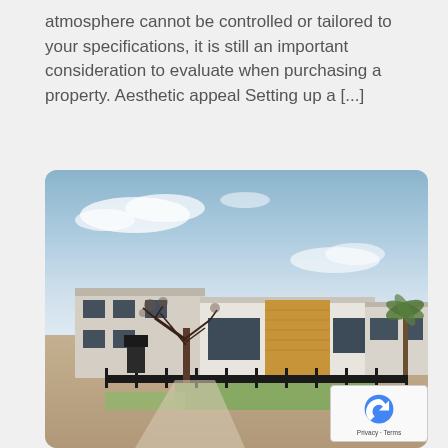atmosphere cannot be controlled or tailored to your specifications, it is still an important consideration to evaluate when purchasing a property. Aesthetic appeal Setting up a [...]
[Figure (photo): Exterior photo of modern residential properties with flat/low-pitched roofs, wood cladding, white render walls, large windows, black metal fencing, a bare tree in the foreground, green lawn, and a blue sky with clouds.]